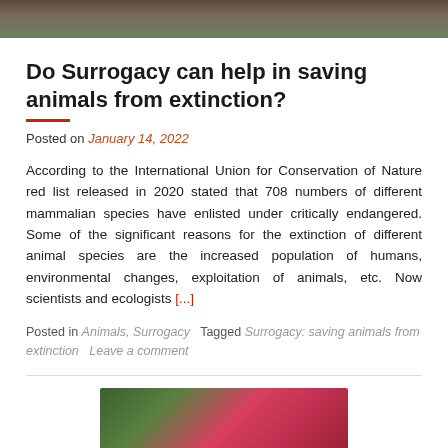[Figure (photo): Partial top image of an animal or nature scene, cropped]
Do Surrogacy can help in saving animals from extinction?
Posted on January 14, 2022
According to the International Union for Conservation of Nature red list released in 2020 stated that 708 numbers of different mammalian species have enlisted under critically endangered. Some of the significant reasons for the extinction of different animal species are the increased population of humans, environmental changes, exploitation of animals, etc. Now scientists and ecologists [...]
Posted in Animals, Surrogacy   Tagged Surrogacy: saving animals from extinction   Leave a comment
[Figure (photo): Partial bottom image showing a pink/red object held by hands against a green background]